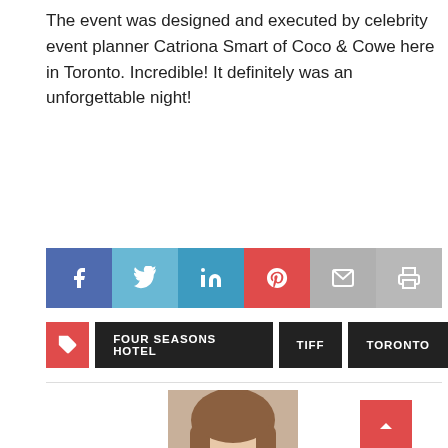The event was designed and executed by celebrity event planner Catriona Smart of Coco & Cowe here in Toronto. Incredible! It definitely was an unforgettable night!
[Figure (infographic): Social media share bar with icons for Facebook (blue), Twitter (light blue), LinkedIn (teal), Pinterest (red), Email (gray), Print (gray)]
FOUR SEASONS HOTEL
TIFF
TORONTO
[Figure (photo): Author headshot: a woman with long brown hair, partial view, cropped at bottom of page]